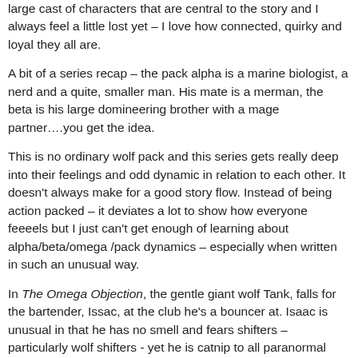large cast of characters that are central to the story and I always feel a little lost yet – I love how connected, quirky and loyal they all are.
A bit of a series recap – the pack alpha is a marine biologist, a nerd and a quite, smaller man. His mate is a merman, the beta is his large domineering brother with a mage partner….you get the idea.
This is no ordinary wolf pack and this series gets really deep into their feelings and odd dynamic in relation to each other. It doesn't always make for a good story flow. Instead of being action packed – it deviates a lot to show how everyone feeeels but I just can't get enough of learning about alpha/beta/omega /pack dynamics – especially when written in such an unusual way.
In The Omega Objection, the gentle giant wolf Tank, falls for the bartender, Issac, at the club he's a bouncer at. Isaac is unusual in that he has no smell and fears shifters – particularly wolf shifters - yet he is catnip to all paranormal creatures. They seek him out at the bar and spill their guts to him. And that's how he's built relationships in the paranormal world.